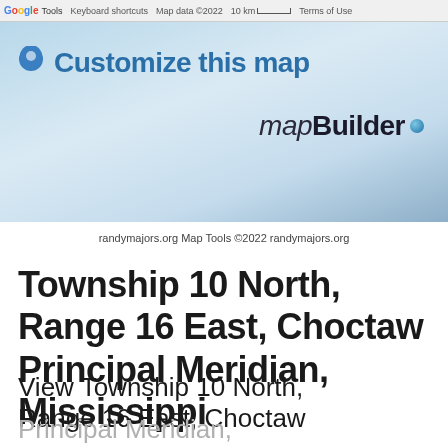Google Tools  Keyboard shortcuts  Map data ©2022  10 km  Terms of Use
[Figure (screenshot): Google Maps mapBuilder banner with blue pin icon, 'Customize this map' text in blue, and 'mapBuilder' branding in dark text with a blue dot]
randymajors.org Map Tools ©2022 randymajors.org
Township 10 North, Range 16 East, Choctaw Principal Meridian, Mississippi
View Township 10 North, Range 16 East, Choctaw Principal Meridian, Mississippi Section Township